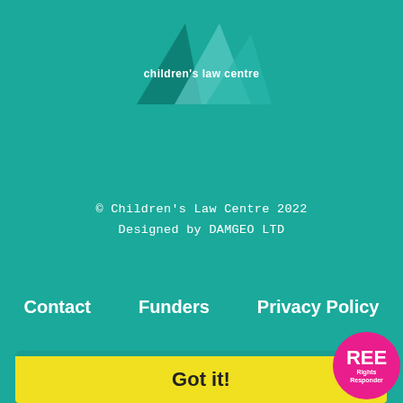[Figure (logo): Children's Law Centre logo with teal triangle shapes and white bold text 'children's law centre']
© Children's Law Centre 2022
Designed by DAMGEO LTD
Contact   Funders   Privacy Policy
This website uses cookies to ensure you get the best experience on our website.
More info
Got it!
[Figure (logo): REE Rights Responder circular pink badge logo in bottom right corner]